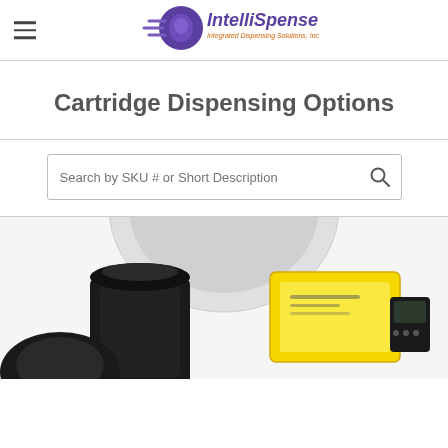IntelliSpense — Integrated Dispensing Solutions, Inc.
Cartridge Dispensing Options
[Figure (other): Search bar with placeholder text 'Search by SKU # or Short Description' and a magnifying glass icon]
[Figure (photo): Partial product image showing cartridge dispensing equipment — a black mechanical dispenser and a yellow cartridge/label component visible at the bottom of the page]